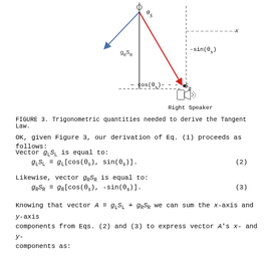[Figure (illustration): Diagram showing trigonometric quantities for the Tangent Law derivation. Shows a right speaker, vectors gR*SR, angles theta_S, labels -sin(theta_s), cos(theta_s), S_R, x-axis, and a dashed arc. Red and blue arrows indicate vector directions from a source point above.]
FIGURE 3. Trigonometric quantities needed to derive the Tangent Law.
OK, given Figure 3, our derivation of Eq. (1) proceeds as follows:
Vector g_L S_L is equal to:
Likewise, vector g_R S_R is equal to:
Knowing that vector A = g_L S_L + g_R S_R we can sum the x-axis and y-axis components from Eqs. (2) and (3) to express vector A's x- and y-components as: